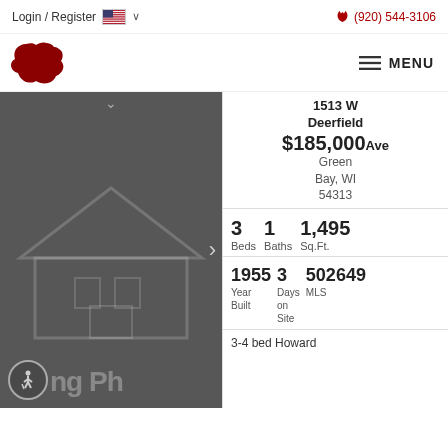Login / Register  🇺🇸 ∨    📞 (920) 544-3106
[Figure (logo): Wisconsin state shape logo in dark red, with hamburger menu icon and MENU text]
[Figure (photo): Dark gray real estate listing photo panel with house outline watermark, accessibility icon, navigation arrow, and partial text 'ng Ph']
1513 W Deerfield Ave
$185,000
Green Bay, WI 54313
3 Beds  1 Baths  1,495 Sq.Ft.
1955 Year Built  3 Days on Site  502649 MLS
3-4 bed Howard